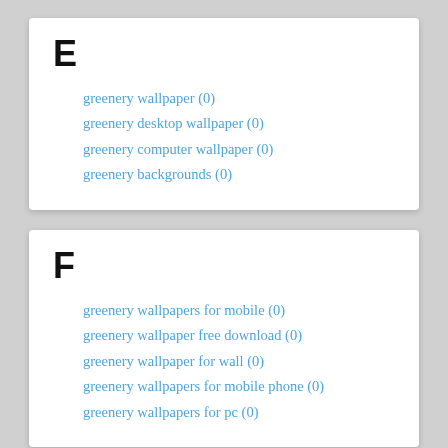E
greenery wallpaper (0)
greenery desktop wallpaper (0)
greenery computer wallpaper (0)
greenery backgrounds (0)
F
greenery wallpapers for mobile (0)
greenery wallpaper free download (0)
greenery wallpaper for wall (0)
greenery wallpapers for mobile phone (0)
greenery wallpapers for pc (0)